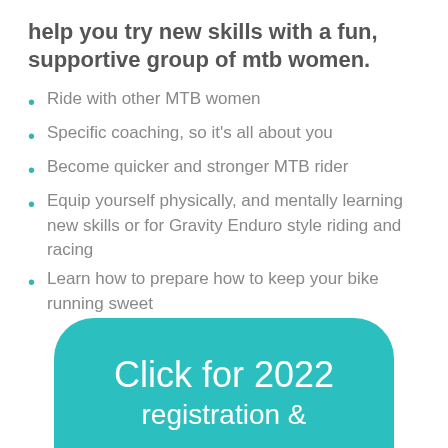help you try new skills with a fun, supportive group of mtb women.
Ride with other MTB women
Specific coaching, so it's all about you
Become quicker and stronger MTB rider
Equip yourself physically, and mentally learning new skills or for Gravity Enduro style riding and racing
Learn how to prepare how to keep your bike running sweet
Click for 2022 registration &